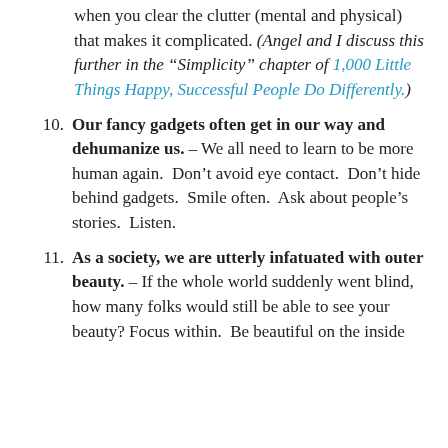when you clear the clutter (mental and physical) that makes it complicated. (Angel and I discuss this further in the “Simplicity” chapter of 1,000 Little Things Happy, Successful People Do Differently.)
10. Our fancy gadgets often get in our way and dehumanize us. – We all need to learn to be more human again. Don’t avoid eye contact. Don’t hide behind gadgets. Smile often. Ask about people’s stories. Listen.
11. As a society, we are utterly infatuated with outer beauty. – If the whole world suddenly went blind, how many folks would still be able to see your beauty? Focus within. Be beautiful on the inside